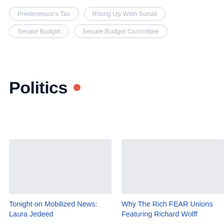Predecessor's Tax
RIsing Up Wiith Sonali
Senate Budget
Senate Budget Committee
Politics •
[Figure (photo): Article thumbnail image placeholder for Tonight on Mobilized News: Laura Jedeed]
Tonight on Mobilized News: Laura Jedeed
[Figure (photo): Article thumbnail image placeholder for Why The Rich FEAR Unions Featuring Richard Wolff]
Why The Rich FEAR Unions Featuring Richard Wolff